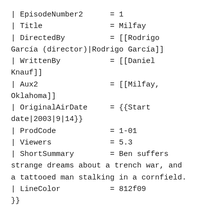| EpisodeNumber2      = 1
| Title               = Milfay
| DirectedBy          = [[Rodrigo García (director)|Rodrigo García]]
| WrittenBy           = [[Daniel Knauf]]
| Aux2                = [[Milfay, Oklahoma]]
| OriginalAirDate     = {{Start date|2003|9|14}}
| ProdCode            = 1-01
| Viewers             = 5.3
| ShortSummary        = Ben suffers strange dreams about a trench war, and a tattooed man stalking in a cornfield.
| LineColor           = 812f09
}}